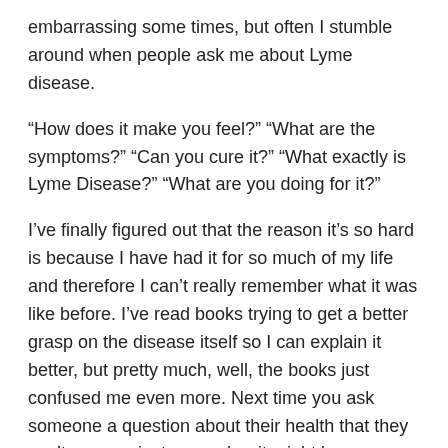embarrassing some times, but often I stumble around when people ask me about Lyme disease.
“How does it make you feel?” “What are the symptoms?” “Can you cure it?” “What exactly is Lyme Disease?” “What are you doing for it?”
I’ve finally figured out that the reason it’s so hard is because I have had it for so much of my life and therefore I can’t really remember what it was like before. I’ve read books trying to get a better grasp on the disease itself so I can explain it better, but pretty much, well, the books just confused me even more. Next time you ask someone a question about their health that they can’t answer, just remember it might be confusing for them, too.
THEM: “So, I’ve heard you have Lyme Disease, what exactaly does that mean?”